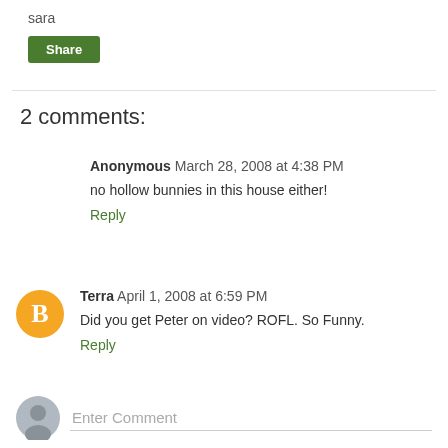sara
Share
2 comments:
Anonymous March 28, 2008 at 4:38 PM
no hollow bunnies in this house either!
Reply
Terra April 1, 2008 at 6:59 PM
Did you get Peter on video? ROFL. So Funny.
Reply
Enter Comment